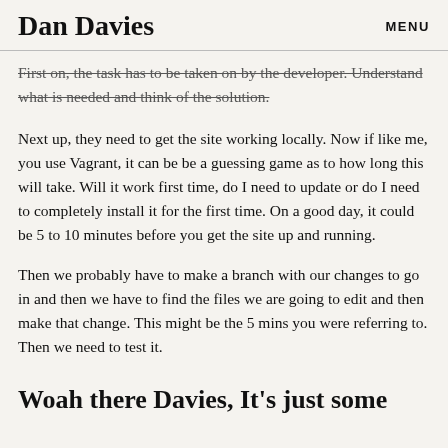Dan Davies   MENU
First on, the task has to be taken on by the developer. Understand what is needed and think of the solution.
Next up, they need to get the site working locally. Now if like me, you use Vagrant, it can be be a guessing game as to how long this will take. Will it work first time, do I need to update or do I need to completely install it for the first time. On a good day, it could be 5 to 10 minutes before you get the site up and running.
Then we probably have to make a branch with our changes to go in and then we have to find the files we are going to edit and then make that change. This might be the 5 mins you were referring to. Then we need to test it.
Woah there Davies, It's just some